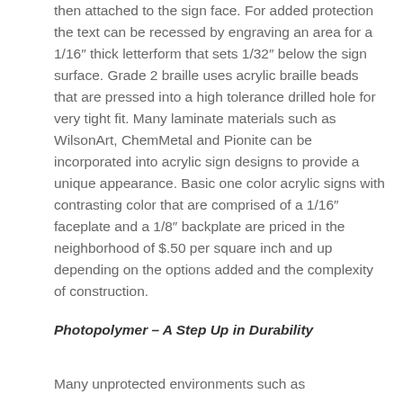then attached to the sign face. For added protection the text can be recessed by engraving an area for a 1/16″ thick letterform that sets 1/32″ below the sign surface. Grade 2 braille uses acrylic braille beads that are pressed into a high tolerance drilled hole for very tight fit. Many laminate materials such as WilsonArt, ChemMetal and Pionite can be incorporated into acrylic sign designs to provide a unique appearance. Basic one color acrylic signs with contrasting color that are comprised of a 1/16″ faceplate and a 1/8″ backplate are priced in the neighborhood of $.50 per square inch and up depending on the options added and the complexity of construction.
Photopolymer – A Step Up in Durability
Many unprotected environments such as